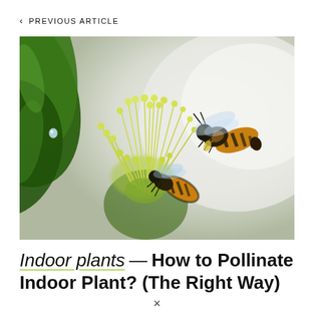< PREVIOUS ARTICLE
[Figure (photo): Close-up macro photograph of two honey bees on a yellow-green flower with many stamens, on a bright white background. One bee is landing/approaching from the right, the other is feeding lower on the flower. Green leaves visible on the left.]
Indoor plants — How to Pollinate Indoor Plant? (The Right Way)
×